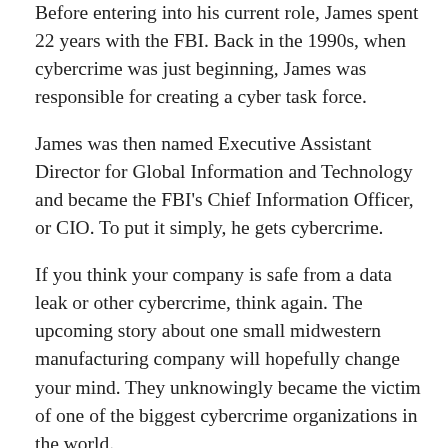recently sat down with James Turgal, VP of Optiv Inc., a leader in cyber advisory and solutions. Before entering into his current role, James spent 22 years with the FBI. Back in the 1990s, when cybercrime was just beginning, James was responsible for creating a cyber task force.
James was then named Executive Assistant Director for Global Information and Technology and became the FBI's Chief Information Officer, or CIO. To put it simply, he gets cybercrime.
If you think your company is safe from a data leak or other cybercrime, think again. The upcoming story about one small midwestern manufacturing company will hopefully change your mind. They unknowingly became the victim of one of the biggest cybercrime organizations in the world.